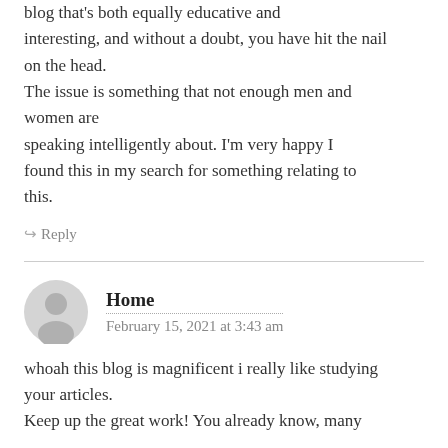blog that's both equally educative and interesting, and without a doubt, you have hit the nail on the head.
The issue is something that not enough men and women are
speaking intelligently about. I'm very happy I found this in my search for something relating to this.
↪ Reply
Home
February 15, 2021 at 3:43 am
whoah this blog is magnificent i really like studying your articles.
Keep up the great work! You already know, many